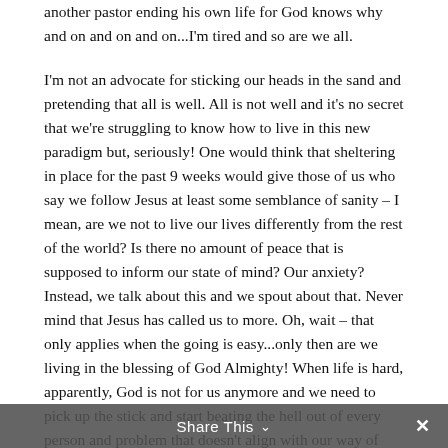another pastor ending his own life for God knows why and on and on and on...I'm tired and so are we all.
I'm not an advocate for sticking our heads in the sand and pretending that all is well. All is not well and it's no secret that we're struggling to know how to live in this new paradigm but, seriously! One would think that sheltering in place for the past 9 weeks would give those of us who say we follow Jesus at least some semblance of sanity – I mean, are we not to live our lives differently from the rest of the world? Is there no amount of peace that is supposed to inform our state of mind? Our anxiety? Instead, we talk about this and we spout about that. Never mind that Jesus has called us to more. Oh, wait – that only applies when the going is easy...only then are we living in the blessing of God Almighty! When life is hard, apparently, God is not for us anymore and we need to pick up the stick and start beating the hell out of every person and problem that doesn't align with our way of thinking or guessing
Share This ✓  ✕